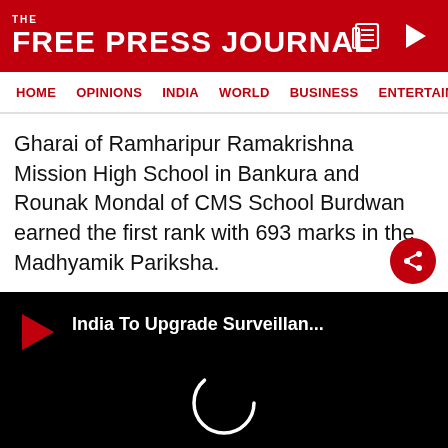THE FREE PRESS JOURNAL
HOME  OPINIONS  INDIA  WORLD  BUSINESS  ENTERTAIN
Gharai of Ramharipur Ramakrishna Mission High School in Bankura and Rounak Mondal of CMS School Burdwan earned the first rank with 693 marks in the Madhyamik Pariksha.
[Figure (screenshot): Video player with black background showing a play button icon and title 'India To Upgrade Surveillan...' with a loading spinner circle in the center]